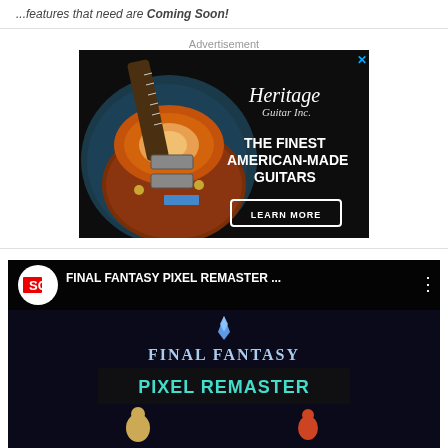...features that need are Coming Soon!
Advertisement
[Figure (photo): Heritage Guitar Inc. advertisement showing a sunburst Les Paul-style electric guitar in a blue case, with text 'THE FINEST AMERICAN-MADE GUITARS' and a 'LEARN MORE' button]
[Figure (screenshot): Video player bar showing SC logo and title 'FINAL FANTASY PIXEL REMASTER...' with Final Fantasy Pixel Remaster game art below]